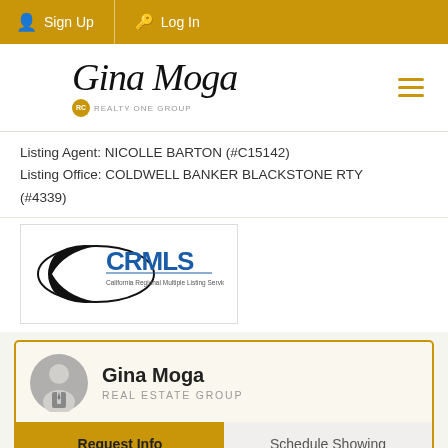Sign Up  Log In
[Figure (logo): Gina Moga Realty One Group cursive logo with hamburger menu icon]
Listing Agent: NICOLLE BARTON (#C15142)
Listing Office: COLDWELL BANKER BLACKSTONE RTY (#4339)
[Figure (logo): CRMLS - California Regional Multiple Listing Service, Inc. logo]
Gina Moga
REAL ESTATE GROUP
Request Info   Schedule Showing